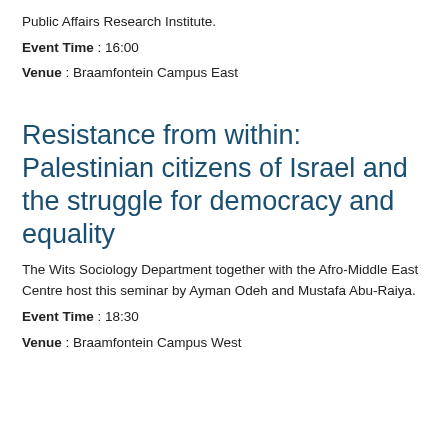Public Affairs Research Institute.
Event Time : 16:00
Venue : Braamfontein Campus East
Resistance from within: Palestinian citizens of Israel and the struggle for democracy and equality
The Wits Sociology Department together with the Afro-Middle East Centre host this seminar by Ayman Odeh and Mustafa Abu-Raiya.
Event Time : 18:30
Venue : Braamfontein Campus West